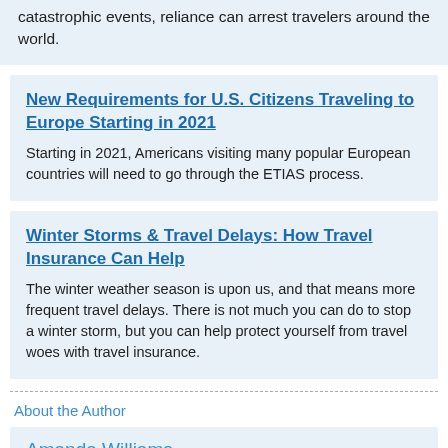catastrophic events, reliance can arrest travelers around the world.
New Requirements for U.S. Citizens Traveling to Europe Starting in 2021
Starting in 2021, Americans visiting many popular European countries will need to go through the ETIAS process.
Winter Storms & Travel Delays: How Travel Insurance Can Help
The winter weather season is upon us, and that means more frequent travel delays. There is not much you can do to stop a winter storm, but you can help protect yourself from travel woes with travel insurance.
About the Author
Amanda Williams